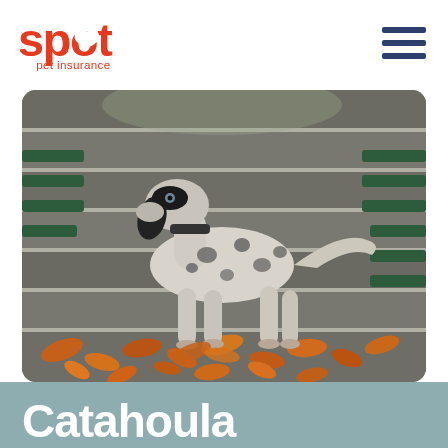Spot Pet Insurance logo and navigation menu
[Figure (photo): A Catahoula Leopard Dog with a mottled white and grey coat with dark spots and black markings on its head, standing on stone steps covered in autumn orange and brown fallen leaves, with green wooden benches visible on both sides in the background.]
Catahoula